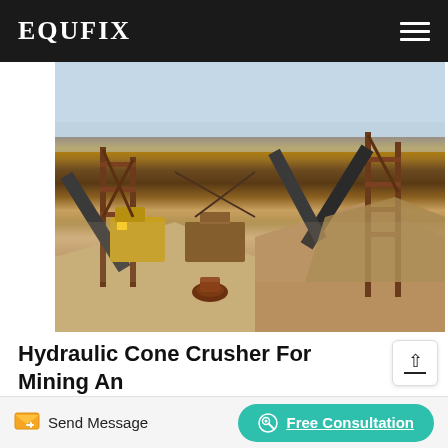EQUFIX
[Figure (photo): Industrial mining crushing plant with conveyor belts, steel structures, yellow machinery, and piles of crushed stone/aggregate on a sandy ground.]
Hydraulic Cone Crusher For Mining And Aggregates Production
PE600X900 cone Crusher for Crushing Stone. Large Capacity Mining Crushing Equipment Pe600X900 Stone
Send Message
Free Consultation